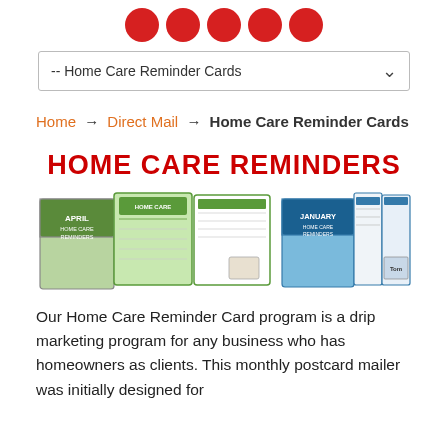[Figure (illustration): Row of red circular social media or navigation icons at top]
[Figure (screenshot): Dropdown menu bar showing '-- Home Care Reminder Cards' with dropdown arrow]
Home → Direct Mail → Home Care Reminder Cards
HOME CARE REMINDERS
[Figure (photo): Fan-spread display of Home Care Reminder postcards: April and January themed mailers shown front and back]
Our Home Care Reminder Card program is a drip marketing program for any business who has homeowners as clients. This monthly postcard mailer was initially designed for